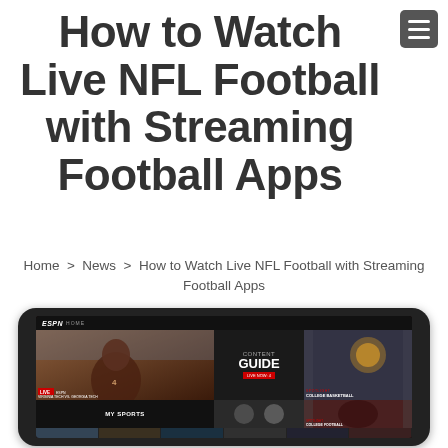How to Watch Live NFL Football with Streaming Football Apps
Home > News > How to Watch Live NFL Football with Streaming Football Apps
[Figure (screenshot): A smartphone displaying the ESPN app home screen showing football, basketball, and sports content tiles, with a Content Guide section and My Sports section visible.]